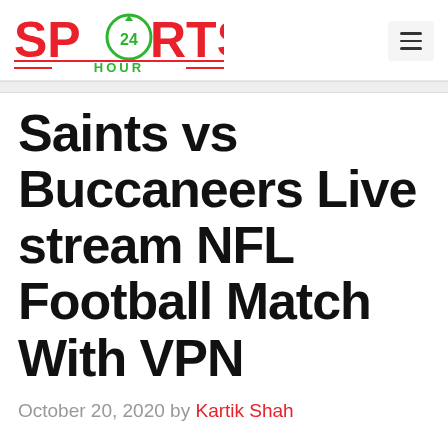Sports 24 Hour — navigation logo and menu
Saints vs Buccaneers Live stream NFL Football Match With VPN
October 20, 2020 by Kartik Shah